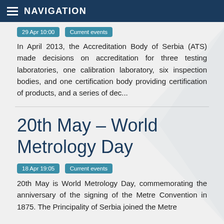NAVIGATION
29 Apr 10:00  Current events
In April 2013, the Accreditation Body of Serbia (ATS) made decisions on accreditation for three testing laboratories, one calibration laboratory, six inspection bodies, and one certification body providing certification of products, and a series of dec...
20th May – World Metrology Day
18 Apr 19:05  Current events
20th May is World Metrology Day, commemorating the anniversary of the signing of the Metre Convention in 1875. The Principality of Serbia joined the Metre